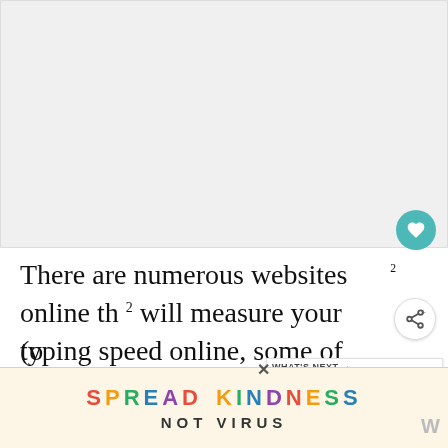[Figure (photo): Large image placeholder area at top of page, light gray background]
There are numerous websites online th² will measure your typing speed online, some of which will award you wi certificate of achievement afterwards (o entirely
[Figure (infographic): WHAT'S NEXT box with thumbnail image showing GPA Scores on Resume ...]
[Figure (infographic): SPREAD KINDNESS NOT VIRUS advertisement banner with colorful letters on cream background]